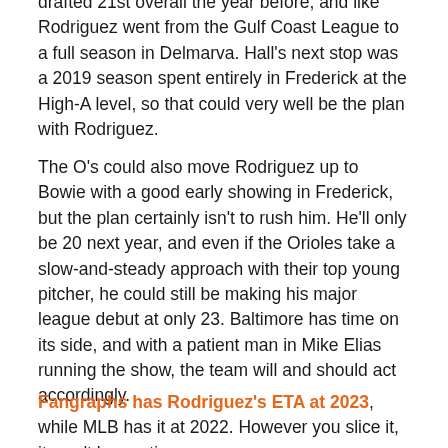drafted 21st overall the year before, and like Rodriguez went from the Gulf Coast League to a full season in Delmarva. Hall's next stop was a 2019 season spent entirely in Frederick at the High-A level, so that could very well be the plan with Rodriguez.
The O's could also move Rodriguez up to Bowie with a good early showing in Frederick, but the plan certainly isn't to rush him. He'll only be 20 next year, and even if the Orioles take a slow-and-steady approach with their top young pitcher, he could still be making his major league debut at only 23. Baltimore has time on its side, and with a patient man in Mike Elias running the show, the team will and should act accordingly.
Fangraphs has Rodriguez's ETA at 2023, while MLB has it at 2022. However you slice it, it won't be anytime